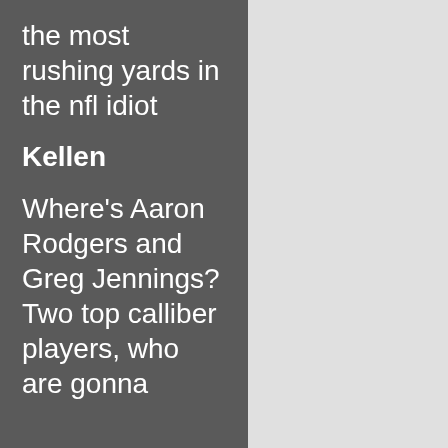the most rushing yards in the nfl idiot
Kellen
Where's Aaron Rodgers and Greg Jennings? Two top calliber players, who are gonna